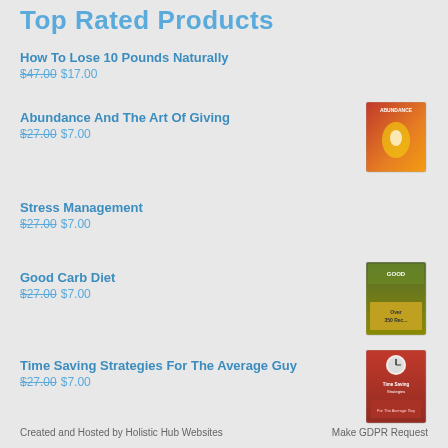Top Rated Products
How To Lose 10 Pounds Naturally
$47.00 $17.00
Abundance And The Art Of Giving
$27.00 $7.00
Stress Management
$27.00 $7.00
Good Carb Diet
$27.00 $7.00
Time Saving Strategies For The Average Guy
$27.00 $7.00
Created and Hosted by Holistic Hub Websites   Make GDPR Request